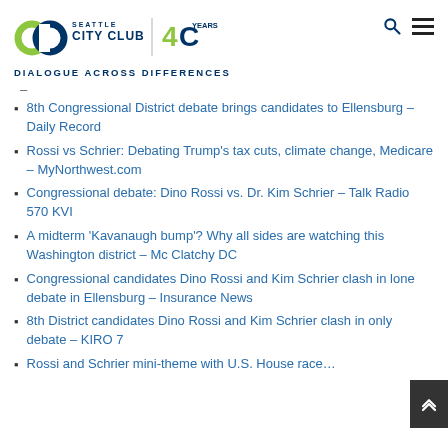Seattle City Club — Dialogue Across Differences
8th Congressional District debate brings candidates to Ellensburg – Daily Record
Rossi vs Schrier: Debating Trump's tax cuts, climate change, Medicare – MyNorthwest.com
Congressional debate: Dino Rossi vs. Dr. Kim Schrier – Talk Radio 570 KVI
A midterm 'Kavanaugh bump'? Why all sides are watching this Washington district – Mc Clatchy DC
Congressional candidates Dino Rossi and Kim Schrier clash in lone debate in Ellensburg – Insurance News
8th District candidates Dino Rossi and Kim Schrier clash in only debate – KIRO 7
Rossi and Schrier mini-theme with U.S. House race…